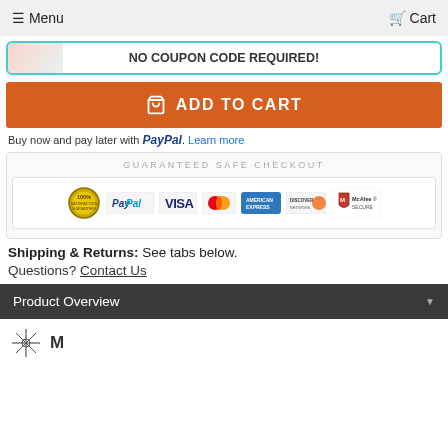☰ Menu   🛒 Cart
NO COUPON CODE REQUIRED!
ADD TO CART
Buy now and pay later with PayPal. Learn more
[Figure (infographic): Guaranteed Safe Checkout banner with payment badges: 100% satisfaction seal, PayPal, VISA, MasterCard, American Express, Discover Network, McAfee SECURE]
Shipping & Returns: See tabs below.
Questions? Contact Us
Product Overview
[Figure (logo): Partial logo at bottom of page]